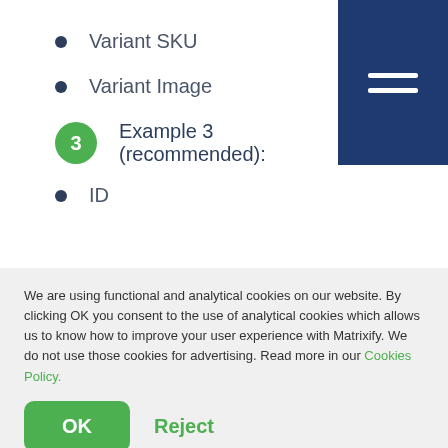Variant SKU
Variant Image
Example 3 (recommended):
ID
We are using functional and analytical cookies on our website. By clicking OK you consent to the use of analytical cookies which allows us to know how to improve your user experience with Matrixify. We do not use those cookies for advertising. Read more in our Cookies Policy.
OK
Reject